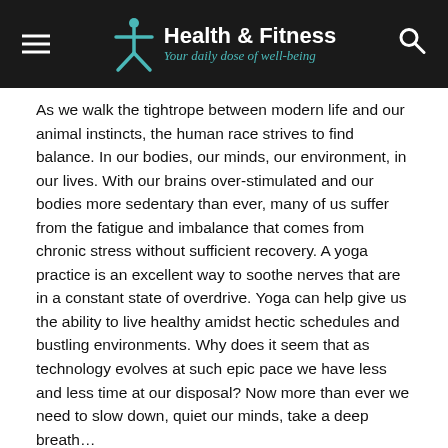Health & Fitness — Your daily dose of well-being
As we walk the tightrope between modern life and our animal instincts, the human race strives to find balance. In our bodies, our minds, our environment, in our lives. With our brains over-stimulated and our bodies more sedentary than ever, many of us suffer from the fatigue and imbalance that comes from chronic stress without sufficient recovery. A yoga practice is an excellent way to soothe nerves that are in a constant state of overdrive. Yoga can help give us the ability to live healthy amidst hectic schedules and bustling environments. Why does it seem that as technology evolves at such epic pace we have less and less time at our disposal? Now more than ever we need to slow down, quiet our minds, take a deep breath…
Stress has become a chronic aspect of life for many of us; and it takes its toll. The nervous system senses continued pressure